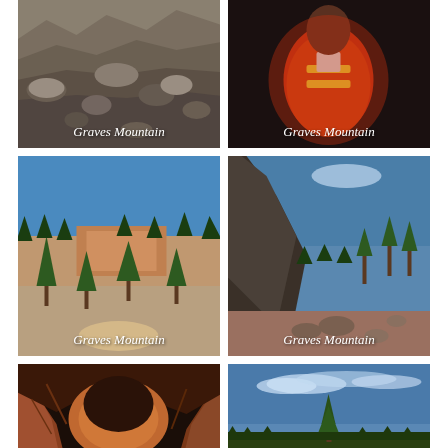[Figure (photo): Rocky terrain at Graves Mountain, close-up of rocks and boulders]
[Figure (photo): Person wearing orange safety vest at Graves Mountain]
[Figure (photo): Open quarry landscape at Graves Mountain with blue sky, trees, and exposed rock face]
[Figure (photo): Rocky outcrop and scattered stones at Graves Mountain with pine trees and blue sky]
[Figure (photo): Cave or tunnel opening at Graves Mountain showing red/orange rock interior]
[Figure (photo): Wide open landscape at Graves Mountain with lone pine tree against blue sky]